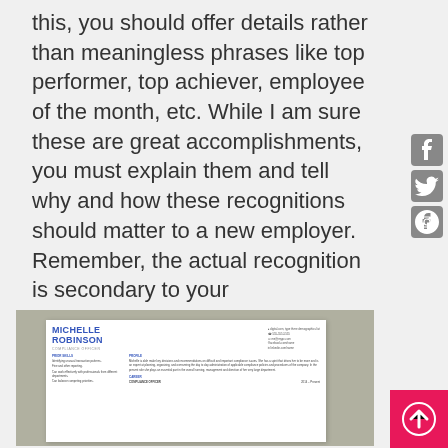this, you should offer details rather than meaningless phrases like top performer, top achiever, employee of the month, etc. While I am sure these are great accomplishments, you must explain them and tell why and how these recognitions should matter to a new employer. Remember, the actual recognition is secondary to your achievements, a potential employer will care more about why you earned recognition.
[Figure (illustration): A resume template for Michelle Robinson, Compliance Officer, showing sections for Prior Skills, Profile, Career, and contact information.]